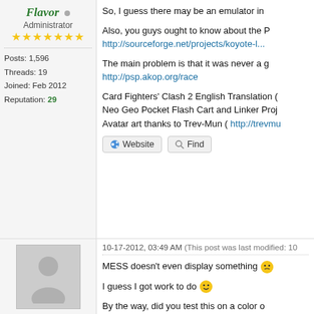Flavor • Administrator ★★★★★★★ Posts: 1,596 Threads: 19 Joined: Feb 2012 Reputation: 29
So, I guess there may be an emulator in...
Also, you guys ought to know about the P... http://sourceforge.net/projects/koyote-l...
The main problem is that it was never a g... http://psp.akop.org/race
Card Fighters' Clash 2 English Translation ( Neo Geo Pocket Flash Cart and Linker Proj Avatar art thanks to Trev-Mun ( http://trevmu
Website   Find
10-17-2012, 03:49 AM (This post was last modified: 10...
MESS doesn't even display something 😞
I guess I got work to do 😊
By the way, did you test this on a color o...
jdg • Junior Member ★★